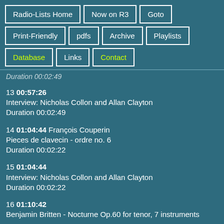Radio-Lists Home
Now on R3
Goto
Print-Friendly
pdfs
Archive
Playlists
Database
Links
Contact
Duration 00:02:49
13 00:57:26
Interview: Nicholas Collon and Allan Clayton
Duration 00:02:49
14 01:04:44 François Couperin
Pieces de clavecin - ordre no. 6
Duration 00:02:22
15 01:04:44
Interview: Nicholas Collon and Allan Clayton
Duration 00:02:22
16 01:10:42
Benjamin Britten - Nocturne Op.60 for tenor, 7 instruments